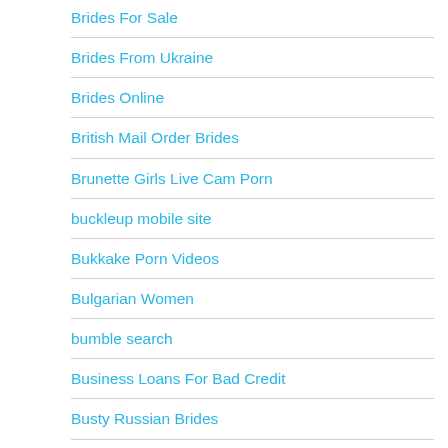Brides For Sale
Brides From Ukraine
Brides Online
British Mail Order Brides
Brunette Girls Live Cam Porn
buckleup mobile site
Bukkake Porn Videos
Bulgarian Women
bumble search
Business Loans For Bad Credit
Busty Russian Brides
Buy A Bride Online
Buy A College Essay